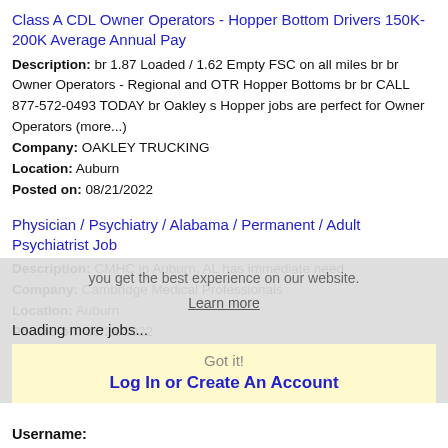Class A CDL Owner Operators - Hopper Bottom Drivers 150K-200K Average Annual Pay
Description: br 1.87 Loaded / 1.62 Empty FSC on all miles br br Owner Operators - Regional and OTR Hopper Bottoms br br CALL 877-572-0493 TODAY br Oakley s Hopper jobs are perfect for Owner Operators (more...)
Company: OAKLEY TRUCKING
Location: Auburn
Posted on: 08/21/2022
Physician / Psychiatry / Alabama / Permanent / Adult Psychiatrist Job
Description: CMHC in Auburn, AL has immediate need
Company: Cambridge Medical Professionals
Location: Auburn
Posted on: 08/21/2022
Loading more jobs...
you get the best experience on our website.
Learn more
Got it!
Log In or Create An Account
Username: